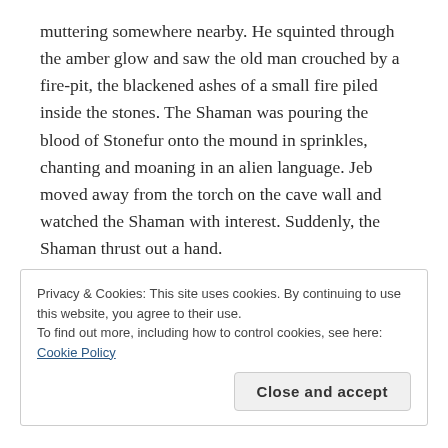muttering somewhere nearby. He squinted through the amber glow and saw the old man crouched by a fire-pit, the blackened ashes of a small fire piled inside the stones. The Shaman was pouring the blood of Stonefur onto the mound in sprinkles, chanting and moaning in an alien language. Jeb moved away from the torch on the cave wall and watched the Shaman with interest. Suddenly, the Shaman thrust out a hand.
Privacy & Cookies: This site uses cookies. By continuing to use this website, you agree to their use.
To find out more, including how to control cookies, see here: Cookie Policy
Close and accept